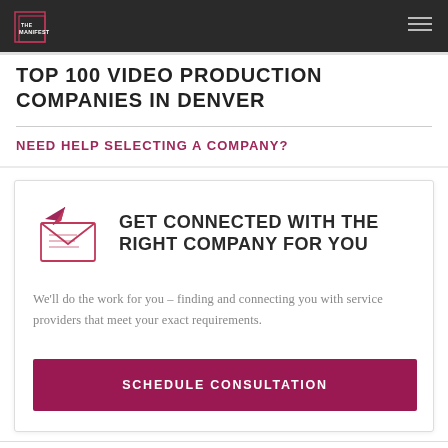THE MANIFEST
TOP 100 VIDEO PRODUCTION COMPANIES IN DENVER
NEED HELP SELECTING A COMPANY?
[Figure (illustration): Envelope with paper airplane icon in dark pink/crimson color, outline style]
GET CONNECTED WITH THE RIGHT COMPANY FOR YOU
We'll do the work for you – finding and connecting you with service providers that meet your exact requirements.
SCHEDULE CONSULTATION